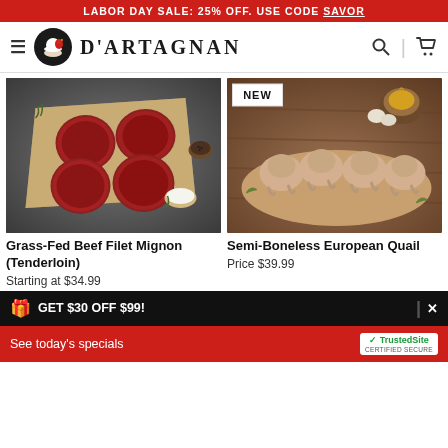LABOR DAY SALE: 25% OFF. USE CODE SAVOR
[Figure (logo): D'Artagnan logo with chef character in circle, brand name text]
[Figure (photo): Grass-Fed Beef Filet Mignon (Tenderloin) - four raw beef filets on parchment paper with herbs and spices on dark background]
[Figure (photo): Semi-Boneless European Quail - raw quail birds on wooden board with onion and garlic, 'NEW' badge overlay]
Grass-Fed Beef Filet Mignon (Tenderloin)
Starting at $34.99
Semi-Boneless European Quail
Price $39.99
🎁 GET $30 OFF $99!
See today's specials